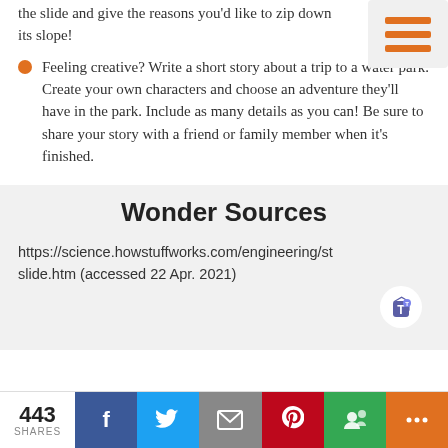the slide and give the reasons you'd like to zip down its slope!
Feeling creative? Write a short story about a trip to a water park. Create your own characters and choose an adventure they'll have in the park. Include as many details as you can! Be sure to share your story with a friend or family member when it's finished.
Wonder Sources
https://science.howstuffworks.com/engineering/st...slide.htm (accessed 22 Apr. 2021)
443 SHARES | Facebook | Twitter | Email | Pinterest | Google+ | More